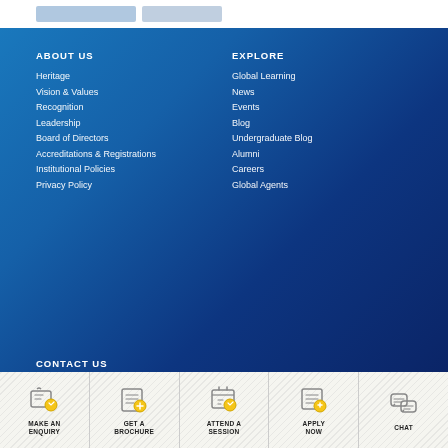ABOUT US
Heritage
Vision & Values
Recognition
Leadership
Board of Directors
Accreditations & Registrations
Institutional Policies
Privacy Policy
EXPLORE
Global Learning
News
Events
Blog
Undergraduate Blog
Alumni
Careers
Global Agents
CONTACT US
Mumbai
Dubai
MAKE AN ENQUIRY | GET A BROCHURE | ATTEND A SESSION | APPLY NOW | CHAT